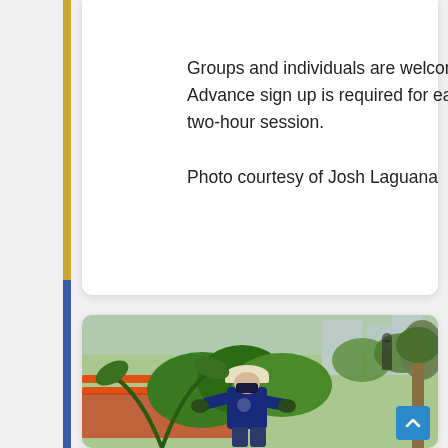Groups and individuals are welcome. Advance sign up is required for each two-hour session.
Photo courtesy of Josh Laguana
[Figure (photo): A person wearing a hard hat, face mask, and dark blue shirt works in a lush green garden area with tropical plants, orange fencing, and buildings visible in the background.]